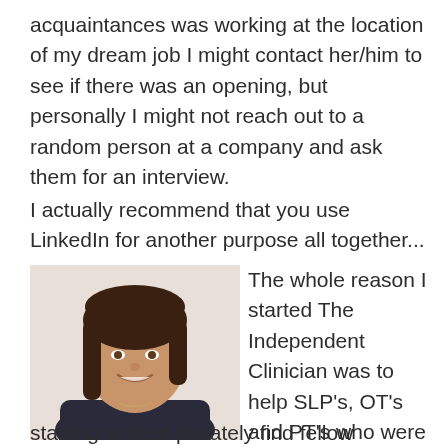acquaintances was working at the location of my dream job I might contact her/him to see if there was an opening, but personally I might not reach out to a random person at a company and ask them for an interview.
I actually recommend that you use LinkedIn for another purpose all together...
[Figure (photo): Portrait photo of a young woman with dark brown shoulder-length hair, smiling, wearing a dark top and a necklace, against a white background.]
The whole reason I started The Independent Clinician was to help SLP's, OT's and PT's who were
starting to treat privately find fellow clinicians